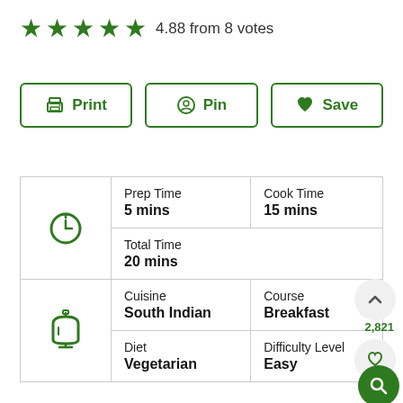★★★★★ 4.88 from 8 votes
[Figure (screenshot): Three action buttons: Print, Pin, Save with green borders and icons]
| Icon | Field | Value |
| --- | --- | --- |
| [clock icon] | Prep Time
5 mins | Cook Time
15 mins |
|  | Total Time
20 mins |  |
| [pot icon] | Cuisine
South Indian | Course
Breakfast |
|  | Diet
Vegetarian | Difficulty Level
Easy |